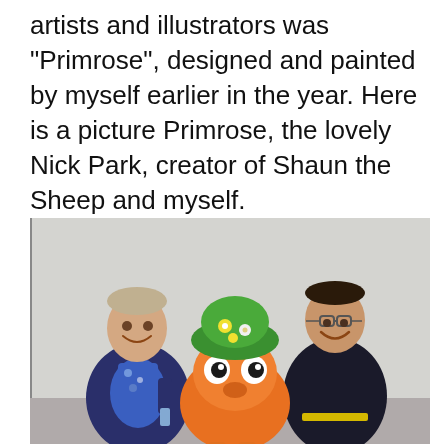artists and illustrators was "Primrose", designed and painted by myself earlier in the year. Here is a picture Primrose, the lovely Nick Park, creator of Shaun the Sheep and myself.
[Figure (photo): Two men smiling and posing with a colourful painted sheep sculpture (Shaun the Sheep style) decorated with green hat and flowers. The man on the left wears a dark blue jacket and floral shirt; the man on the right wears a dark tracksuit top. The sculpture is orange with big eyes and a green flowery hat.]